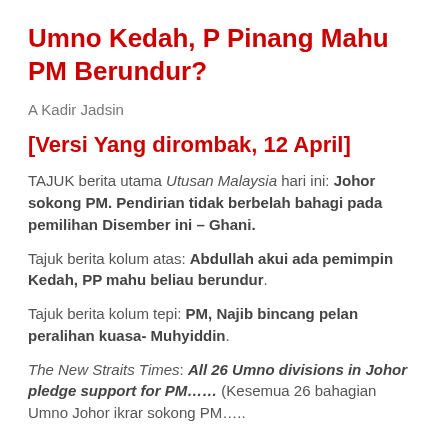Umno Kedah, P Pinang Mahu PM Berundur?
A Kadir Jadsin
[Versi Yang dirombak, 12 April]
TAJUK berita utama Utusan Malaysia hari ini: Johor sokong PM. Pendirian tidak berbelah bahagi pada pemilihan Disember ini – Ghani.
Tajuk berita kolum atas: Abdullah akui ada pemimpin Kedah, PP mahu beliau berundur.
Tajuk berita kolum tepi: PM, Najib bincang pelan peralihan kuasa- Muhyiddin.
The New Straits Times: All 26 Umno divisions in Johor pledge support for PM…… (Kesemua 26 bahagian Umno Johor ikrar sokong PM…..